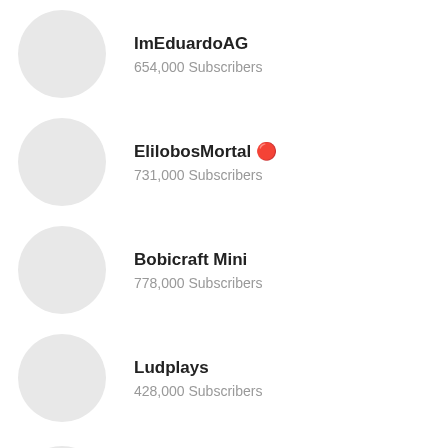ImEduardoAG
654,000 Subscribers
ElilobosMortal 🔴
731,000 Subscribers
Bobicraft Mini
778,000 Subscribers
Ludplays
428,000 Subscribers
TEKAI HUNDER GAMER
1,270,000 Subscribers